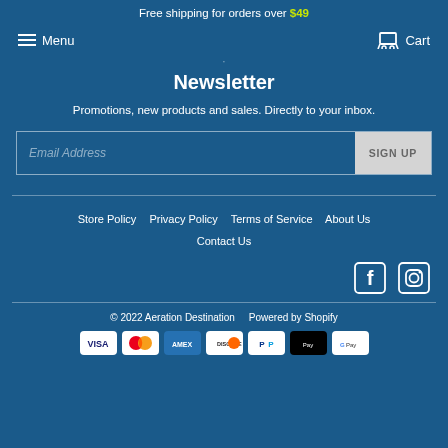Free shipping for orders over $49
Menu   Cart
Newsletter
Promotions, new products and sales. Directly to your inbox.
Email Address  SIGN UP
Store Policy   Privacy Policy   Terms of Service   About Us   Contact Us
[Figure (logo): Facebook and Instagram social media icons]
© 2022 Aeration Destination   Powered by Shopify
[Figure (other): Payment method icons: Visa, Mastercard, Amex, Discover, PayPal, Apple Pay, Google Pay]